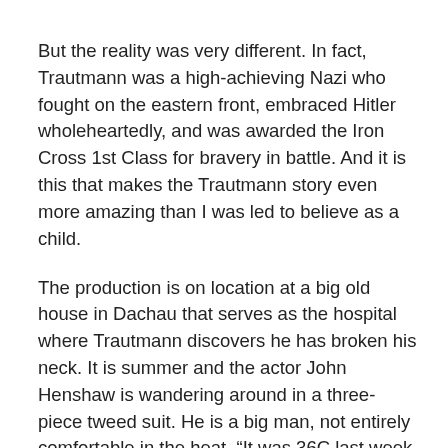But the reality was very different. In fact, Trautmann was a high-achieving Nazi who fought on the eastern front, embraced Hitler wholeheartedly, and was awarded the Iron Cross 1st Class for bravery in battle. And it is this that makes the Trautmann story even more amazing than I was led to believe as a child.
The production is on location at a big old house in Dachau that serves as the hospital where Trautmann discovers he has broken his neck. It is summer and the actor John Henshaw is wandering around in a three-piece tweed suit. He is a big man, not entirely comfortable in the heat. “It was 36C last week, and I had this on and a big overcoat on top of it. I was sweating like a cheese,” he says. Henshaw plays Jack Friar, the club secretary who signed Trautmann for St Helens (his club before City), and